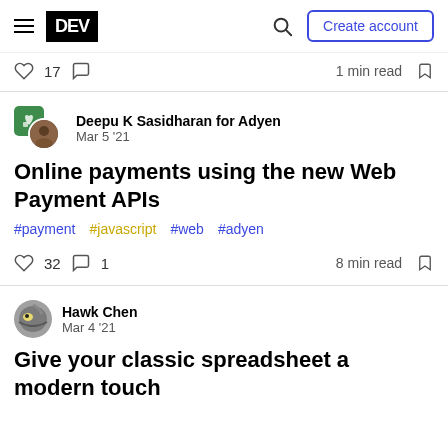DEV — Create account
♡ 17  ○  1 min read  ⊡
Deepu K Sasidharan for Adyen — Mar 5 '21
Online payments using the new Web Payment APIs
#payment #javascript #web #adyen
♡ 32  ○ 1  8 min read  ⊡
Hawk Chen — Mar 4 '21
Give your classic spreadsheet a modern touch